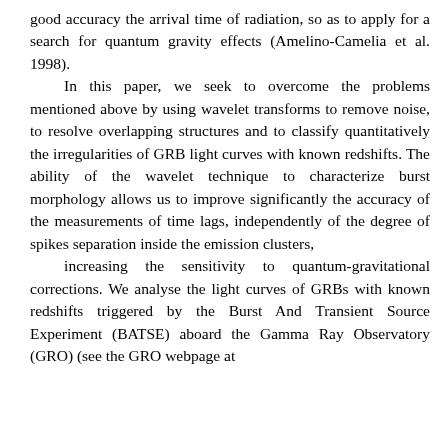good accuracy the arrival time of radiation, so as to apply for a search for quantum gravity effects (Amelino-Camelia et al. 1998). In this paper, we seek to overcome the problems mentioned above by using wavelet transforms to remove noise, to resolve overlapping structures and to classify quantitatively the irregularities of GRB light curves with known redshifts. The ability of the wavelet technique to characterize burst morphology allows us to improve significantly the accuracy of the measurements of time lags, independently of the degree of spikes separation inside the emission clusters, increasing the sensitivity to quantum-gravitational corrections. We analyse the light curves of GRBs with known redshifts triggered by the Burst And Transient Source Experiment (BATSE) aboard the Gamma Ray Observatory (GRO) (see the GRO webpage at